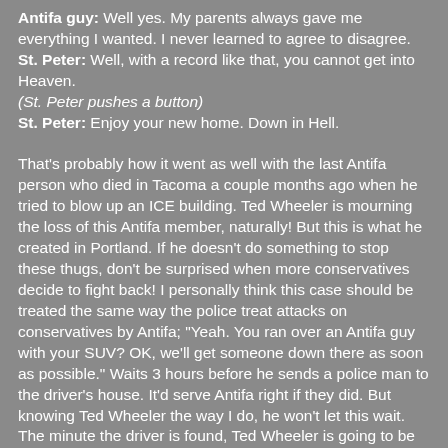Antifa guy: Well yes. My parents always gave me everything I wanted. I never learned to agree to disagree. St. Peter: Well, with a record like that, you cannot get into Heaven. (St. Peter pushes a button) St. Peter: Enjoy your new home. Down in Hell.

That's probably how it went as well with the last Antifa person who died in Tacoma a couple months ago when he tried to blow up an ICE building. Ted Wheeler is mourning the loss of this Antifa member, naturally! But this is what he created in Portland. If he doesn't do something to stop these thugs, don't be surprised when more conservatives decide to fight back! I personally think this case should be treated the same way the police treat attacks on conservatives by Antifa; "Yeah. You ran over an Antifa guy with your SUV? OK, we'll get someone down there as soon as possible." Waits 3 hours before he sends a police man to the driver's house. It'd serve Antifa right if they did. But knowing Ted Wheeler the way I do, he won't let this wait. The minute the driver is found, Ted Wheeler is going to be waiting with his hands getting ready to punch the driver, no doubt will have the guy